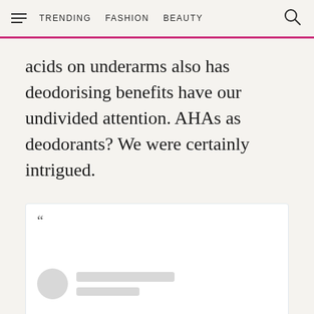TRENDING  FASHION  BEAUTY
acids on underarms also has deodorising benefits have our undivided attention. AHAs as deodorants? We were certainly intrigued.
[Figure (screenshot): Embedded tweet or social media post with a quotation mark, blurred/placeholder user avatar circle, and two blurred placeholder text bars representing user name and handle. The tweet content area is mostly empty/loading.]